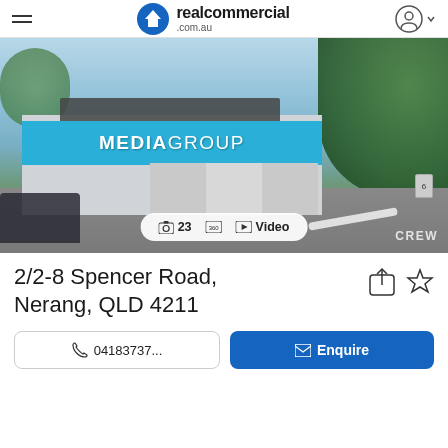realcommercial .com.au
[Figure (photo): Aerial/drone photo of a commercial building with a large 'MEDIAGROUP' banner on the facade, surrounded by trees and a car park. Photo shows 23 images, 360, and Video available. Watermark: CREW.]
2/2-8 Spencer Road, Nerang, QLD 4211
04183737...
Enquire